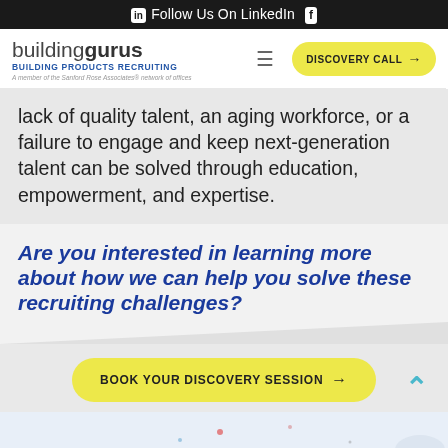in Follow Us On LinkedIn f
[Figure (logo): Building Gurus logo - Building Products Recruiting, A member of the Sanford Rose Associates network of offices]
lack of quality talent, an aging workforce, or a failure to engage and keep next-generation talent can be solved through education, empowerment, and expertise.
Are you interested in learning more about how we can help you solve these recruiting challenges?
BOOK YOUR DISCOVERY SESSION →